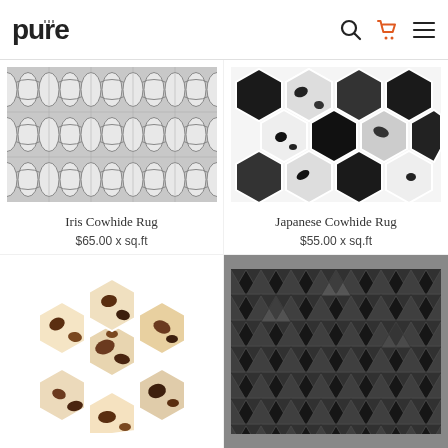pure
[Figure (photo): Iris Cowhide Rug - grey and white geometric pattern rug with oval/lens shapes arranged in a grid]
Iris Cowhide Rug
$65.00 x sq.ft
[Figure (photo): Japanese Cowhide Rug - black white and grey hexagonal patchwork cowhide rug]
Japanese Cowhide Rug
$55.00 x sq.ft
[Figure (photo): Brown and white cowhide hexagonal patchwork rug]
[Figure (photo): Black and grey geometric triangle pattern rug]